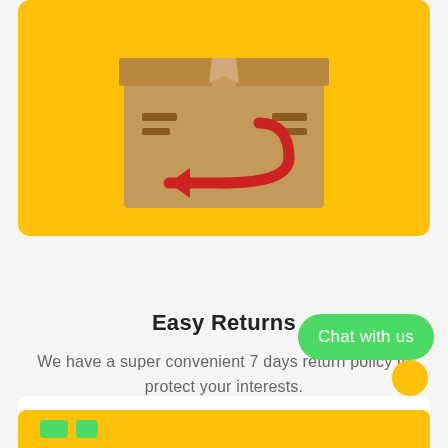[Figure (illustration): A cardboard box with a return arrow icon on a yellow background. The box has dark brown stripe details on the sides and a receipt/tab sticking out from the top. A red U-shaped return arrow is displayed on the front of the box.]
Easy Returns
We have a super convenient 7 days return policy to protect your interests.
[Figure (other): Green chat button labeled 'Chat with us' and a yellow circle icon at bottom right]